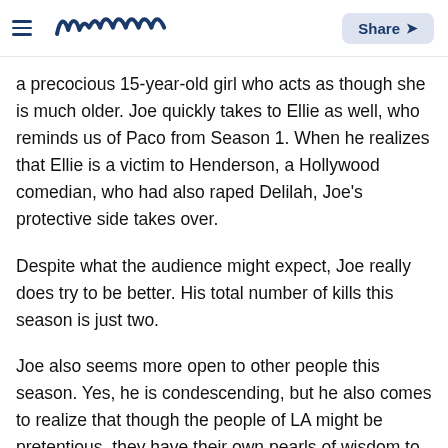meaww | Share
a precocious 15-year-old girl who acts as though she is much older. Joe quickly takes to Ellie as well, who reminds us of Paco from Season 1. When he realizes that Ellie is a victim to Henderson, a Hollywood comedian, who had also raped Delilah, Joe's protective side takes over.
Despite what the audience might expect, Joe really does try to be better. His total number of kills this season is just two.
Joe also seems more open to other people this season. Yes, he is condescending, but he also comes to realize that though the people of LA might be pretentious, they have their own pearls of wisdom to offer him as well. We find him getting closer to Forty and Delilah than we expected